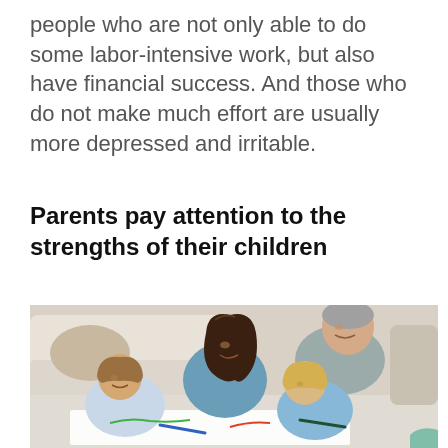people who are not only able to do some labor-intensive work, but also have financial success. And those who do not make much effort are usually more depressed and irritable.
Parents pay attention to the strengths of their children
[Figure (photo): A family scene with two parents and two children sitting on the floor, leaning over papers or books, doing homework or a creative activity together. The mother has long dark hair and wears a blue top. The father has grey hair and wears a grey polo shirt. The children, a boy and a girl, are in the foreground writing or drawing.]